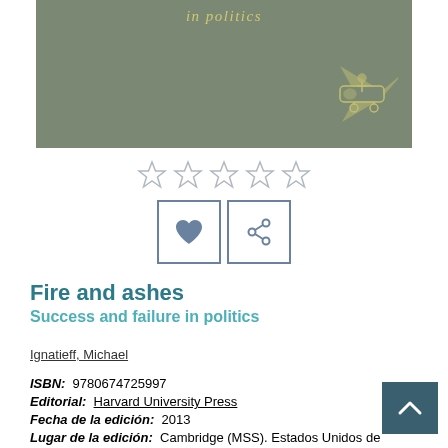[Figure (photo): Book cover of 'Fire and ashes: Success and failure in politics' with a sage green background, italic text and an illustration of a figure on a vehicle]
[Figure (other): Five empty star rating icons arranged horizontally]
[Figure (other): Two action buttons: a heart/favorite button and a share button, both with blue border]
Fire and ashes
Success and failure in politics
Ignatieff, Michael
ISBN:  9780674725997
Editorial:  Harvard University Press
Fecha de la edición:  2013
Lugar de la edición:  Cambridge (MSS). Estados Unidos de Norteamérica